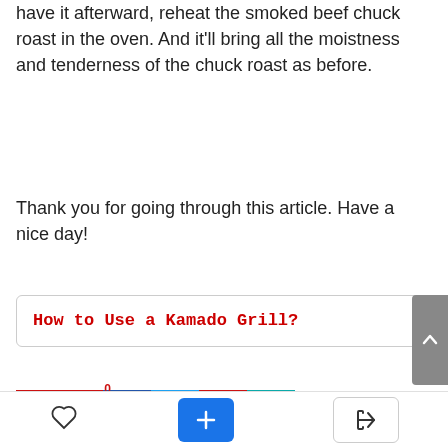have it afterward, reheat the smoked beef chuck roast in the oven. And it'll bring all the moistness and tenderness of the chuck roast as before.
Thank you for going through this article. Have a nice day!
How to Use a Kamado Grill?
[Figure (screenshot): Social share bar with Save button (red), Facebook (dark blue), Twitter (light blue), Pinterest (red), Email (teal) icon buttons, with a '0' save count badge.]
[Figure (screenshot): Bottom navigation bar with heart (favorite), plus (add), and login (arrow) icon buttons.]